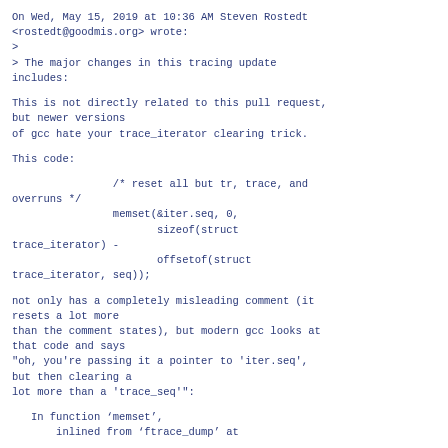On Wed, May 15, 2019 at 10:36 AM Steven Rostedt <rostedt@goodmis.org> wrote:
>
> The major changes in this tracing update includes:
This is not directly related to this pull request, but newer versions
of gcc hate your trace_iterator clearing trick.
This code:
/* reset all but tr, trace, and overruns */
                memset(&iter.seq, 0,
                       sizeof(struct trace_iterator) -
                       offsetof(struct trace_iterator, seq));
not only has a completely misleading comment (it resets a lot more
than the comment states), but modern gcc looks at that code and says
"oh, you're passing it a pointer to 'iter.seq', but then clearing a
lot more than a 'trace_seq'":
In function ‘memset’,
       inlined from ‘ftrace_dump’ at